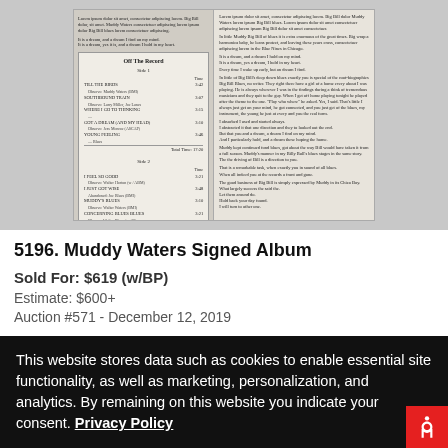[Figure (photo): Photograph of a Muddy Waters signed album record jacket open to show liner notes and tracklist. The right panel shows dense text and the left panel shows a tracklist box titled 'Off The Record' with Side 1 and Side 2 listings.]
5196. Muddy Waters Signed Album
Sold For: $619 (w/BP)
Estimate: $600+
Auction #571 - December 12, 2019
This website stores data such as cookies to enable essential site functionality, as well as marketing, personalization, and analytics. By remaining on this website you indicate your consent. Privacy Policy